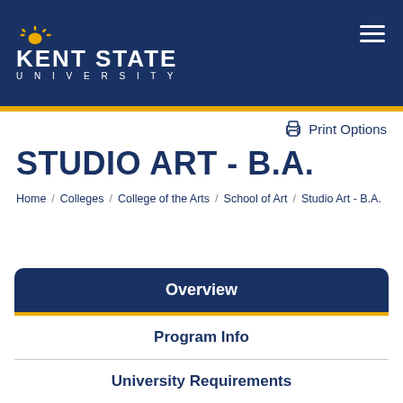Kent State University
Print Options
STUDIO ART - B.A.
Home / Colleges / College of the Arts / School of Art / Studio Art - B.A.
Overview
Program Info
University Requirements
Program Requirements